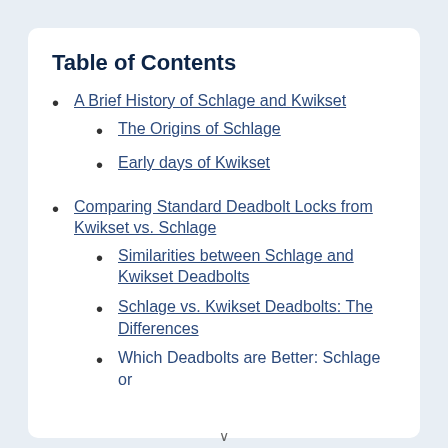Table of Contents
A Brief History of Schlage and Kwikset
The Origins of Schlage
Early days of Kwikset
Comparing Standard Deadbolt Locks from Kwikset vs. Schlage
Similarities between Schlage and Kwikset Deadbolts
Schlage vs. Kwikset Deadbolts: The Differences
Which Deadbolts are Better: Schlage or